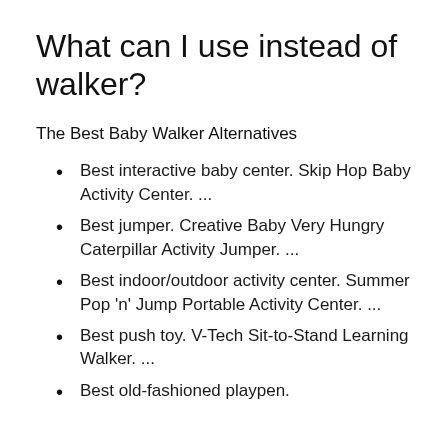What can I use instead of walker?
The Best Baby Walker Alternatives
Best interactive baby center. Skip Hop Baby Activity Center. ...
Best jumper. Creative Baby Very Hungry Caterpillar Activity Jumper. ...
Best indoor/outdoor activity center. Summer Pop 'n' Jump Portable Activity Center. ...
Best push toy. V-Tech Sit-to-Stand Learning Walker. ...
Best old-fashioned playpen.